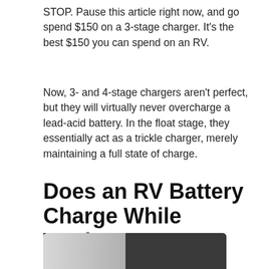STOP. Pause this article right now, and go spend $150 on a 3-stage charger. It's the best $150 you can spend on an RV.
Now, 3- and 4-stage chargers aren't perfect, but they will virtually never overcharge a lead-acid battery. In the float stage, they essentially act as a trickle charger, merely maintaining a full state of charge.
Does an RV Battery Charge While Towing?
[Figure (photo): Partial photo of what appears to be an RV towing connection or battery-related component, showing a light grey/white area on the left and dark mechanical parts on the right.]